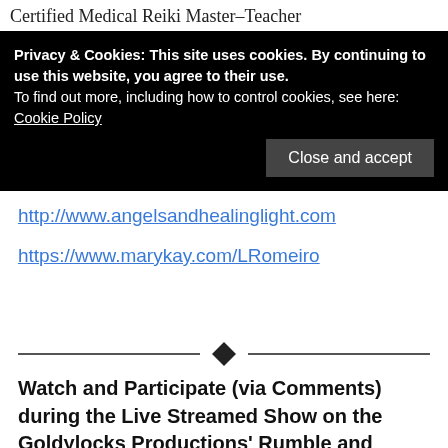Certified Medical Reiki Master–Teacher
Privacy & Cookies: This site uses cookies. By continuing to use this website, you agree to their use.
To find out more, including how to control cookies, see here:
Cookie Policy
Close and accept
http://www.angelsandhealinglight.com
https://www.marykay.com/LRomeiro
Watch and Participate (via Comments) during the Live Streamed Show on the Goldylocks Productions' Rumble and YouTube Channels. View the archived shows on our BitChute